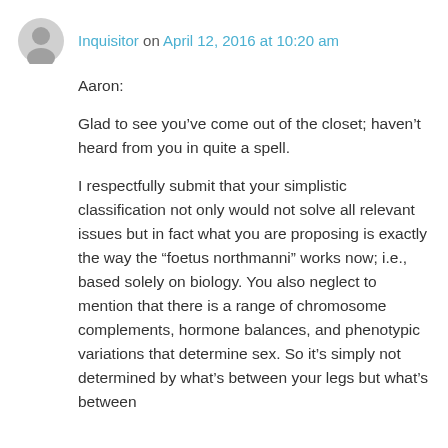Inquisitor on April 12, 2016 at 10:20 am
Aaron:
Glad to see you’ve come out of the closet; haven’t heard from you in quite a spell.
I respectfully submit that your simplistic classification not only would not solve all relevant issues but in fact what you are proposing is exactly the way the “foetus northmanni” works now; i.e., based solely on biology. You also neglect to mention that there is a range of chromosome complements, hormone balances, and phenotypic variations that determine sex. So it’s simply not determined by what’s between your legs but what’s between